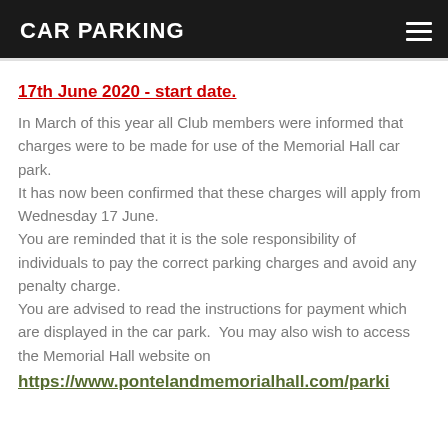CAR PARKING
17th June 2020 - start date.
In March of this year all Club members were informed that charges were to be made for use of the Memorial Hall car park.
It has now been confirmed that these charges will apply from Wednesday 17 June.
You are reminded that it is the sole responsibility of individuals to pay the correct parking charges and avoid any penalty charge.
You are advised to read the instructions for payment which are displayed in the car park.  You may also wish to access the Memorial Hall website on
https://www.pontelandmemorialhall.com/parki